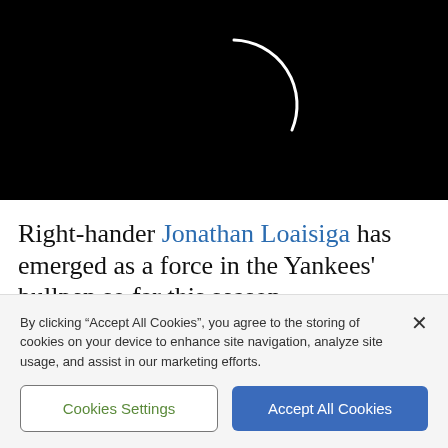[Figure (screenshot): Black video loading screen with a white partial circular arc (loading spinner) in the center]
Right-hander Jonathan Loaisiga has emerged as a force in the Yankees' bullpen so far this season,
By clicking "Accept All Cookies", you agree to the storing of cookies on your device to enhance site navigation, analyze site usage, and assist in our marketing efforts.
Cookies Settings
Accept All Cookies